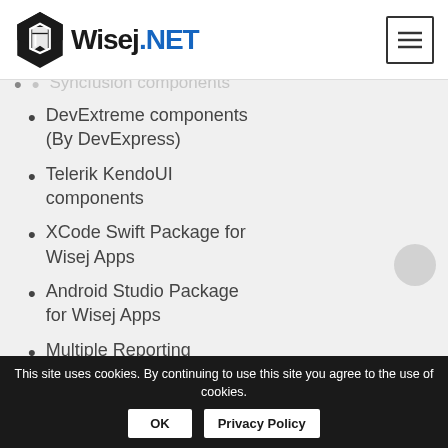Wisej.NET
Syncfusion components
DevExtreme components (By DevExpress)
Telerik KendoUI components
XCode Swift Package for Wisej Apps
Android Studio Package for Wisej Apps
Multiple Reporting systems
This site uses cookies. By continuing to use this site you agree to the use of cookies.  OK  Privacy Policy